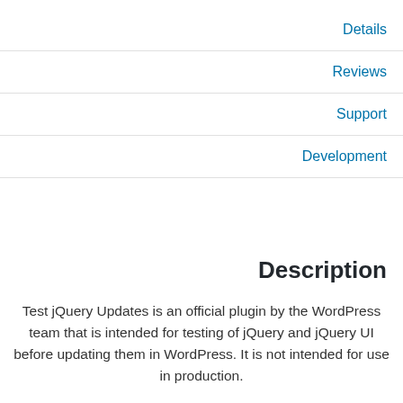Details
Reviews
Support
Development
Description
Test jQuery Updates is an official plugin by the WordPress team that is intended for testing of jQuery and jQuery UI before updating them in WordPress. It is not intended for use in production.
Version 2.0 of the plugin is intended for testing in WordPress 5.6. It can disable jQuery Migrate in preparation for removing it in the future.